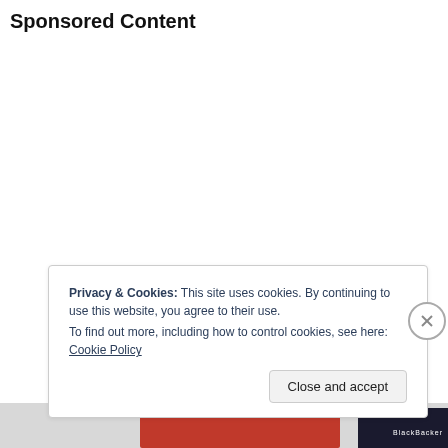Sponsored Content
Privacy & Cookies: This site uses cookies. By continuing to use this website, you agree to their use.
To find out more, including how to control cookies, see here: Cookie Policy
Close and accept